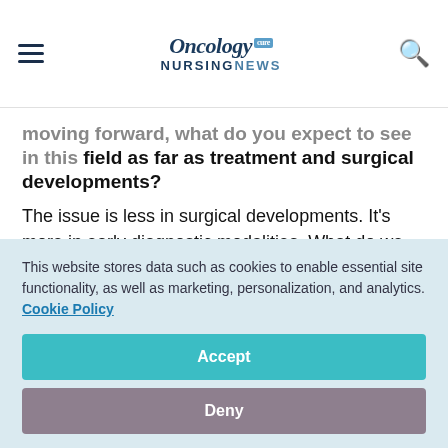Oncology Nursing News
field as far as treatment and surgical developments?
The issue is less in surgical developments. It's more in early diagnostic modalities. What do we do in the patient who presents in the office? Is there a simple, quick office-based study that
This website stores data such as cookies to enable essential site functionality, as well as marketing, personalization, and analytics. Cookie Policy
Accept
Deny